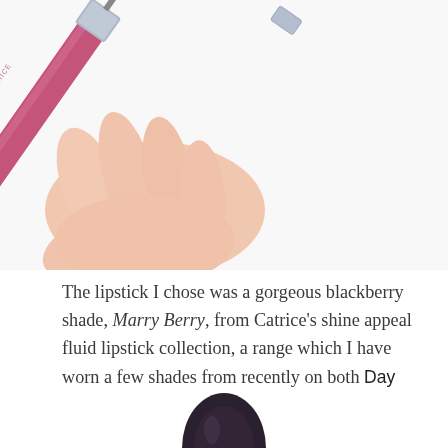[Figure (photo): Close-up photo of a hand holding a Catrice shine appeal fluid lipstick in a pink/blackberry shade called Marry Berry, showing the tube with CATRICE branding on it.]
The lipstick I chose was a gorgeous blackberry shade, Marry Berry, from Catrice's shine appeal fluid lipstick collection, a range which I have worn a few shades from recently on both Day 138 and Day 142 of the challenge.
[Figure (photo): Partial bottom of page showing tip of a dark lipstick bullet.]